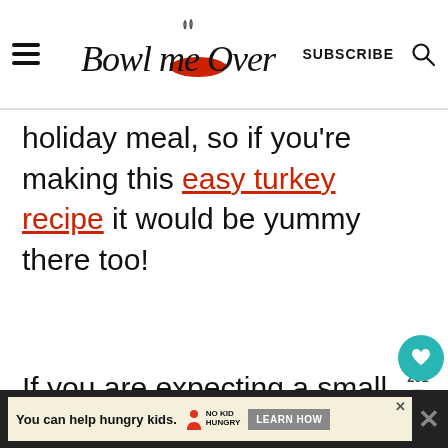Bowl me Over — SUBSCRIBE
holiday meal, so if you're making this easy turkey recipe it would be yummy there too!
If you are expecting a small crowd for the holidays, make this crockpot pot turkey and st… and serve the sautéed Brussels
[Figure (infographic): What's Next panel showing Easy Crock Pot Beef... with food thumbnail]
You can help hungry kids. NO KID HUNGRY LEARN HOW